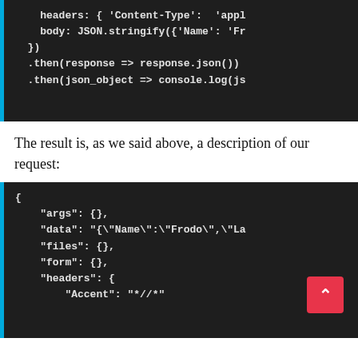[Figure (screenshot): Code block showing JavaScript fetch API with headers Content-Type and body JSON.stringify, followed by .then chains]
The result is, as we said above, a description of our request:
[Figure (screenshot): Code block showing JSON response object with args, data, files, form, headers fields including Accent: */*]